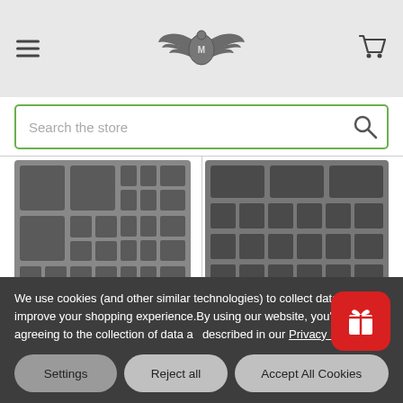Navigation header with hamburger menu, brand logo (winged emblem), and cart icon
Search the store
[Figure (photo): Gray foam tray insert with multiple compartments of varying sizes for miniature storage — left product]
[Figure (photo): Gray foam tray insert with uniform grid of rectangular compartments for miniature storage — right product]
We use cookies (and other similar technologies) to collect data to improve your shopping experience.By using our website, you're agreeing to the collection of data as described in our Privacy Policy.
Settings
Reject all
Accept All Cookies